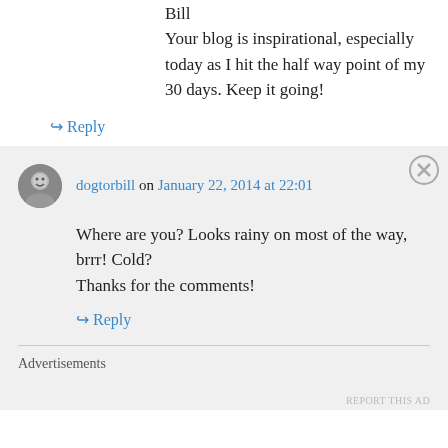Bill
Your blog is inspirational, especially today as I hit the half way point of my 30 days. Keep it going!
↳ Reply
dogtorbill on January 22, 2014 at 22:01
Where are you? Looks rainy on most of the way, brrr! Cold?
Thanks for the comments!
↳ Reply
Advertisements